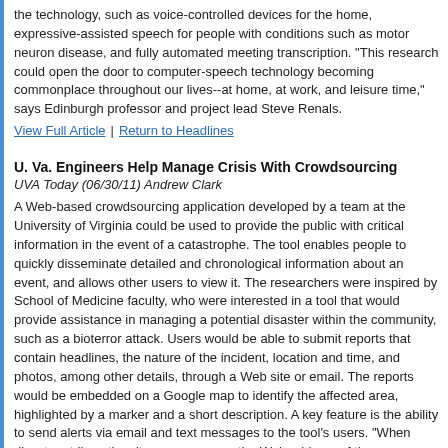the technology, such as voice-controlled devices for the home, expressive-assisted speech for people with conditions such as motor neuron disease, and fully automated meeting transcription. "This research could open the door to computer-speech technology becoming commonplace throughout our lives--at home, at work, and leisure time," says Edinburgh professor and project lead Steve Renals.
View Full Article | Return to Headlines
U. Va. Engineers Help Manage Crisis With Crowdsourcing
UVA Today (06/30/11) Andrew Clark
A Web-based crowdsourcing application developed by a team at the University of Virginia could be used to provide the public with critical information in the event of a catastrophe. The tool enables people to quickly disseminate detailed and chronological information about an event, and allows other users to view it. The researchers were inspired by School of Medicine faculty, who were interested in a tool that would provide assistance in managing a potential disaster within the community, such as a bioterror attack. Users would be able to submit reports that contain headlines, the nature of the incident, location and time, and photos, among other details, through a Web site or email. The reports would be embedded on a Google map to identify the affected area, highlighted by a marker and a short description. A key feature is the ability to send alerts via email and text messages to the tool's users. "When disaster strikes, the city can announce the Web address of the crowdsourcing software so citizens can participate in the crisis recovery by submitting reports of what they observe," says professor Alfred Weaver. The team is still working on ways to help ensure the reliability of submitted information.
View Full Article | Return to Headlines
The Next Generation of Computing
University of Cambridge (07/04/11)